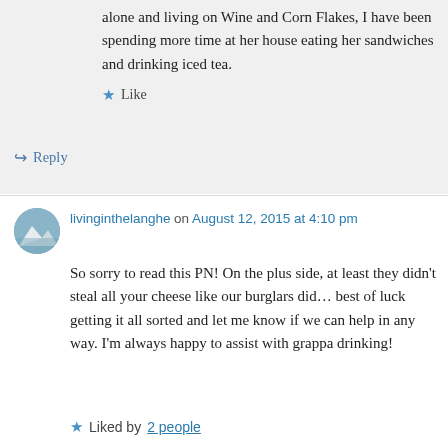alone and living on Wine and Corn Flakes, I have been spending more time at her house eating her sandwiches and drinking iced tea.
Like
Reply
livinginthelanghe on August 12, 2015 at 4:10 pm
So sorry to read this PN! On the plus side, at least they didn't steal all your cheese like our burglars did… best of luck getting it all sorted and let me know if we can help in any way. I'm always happy to assist with grappa drinking!
Liked by 2 people